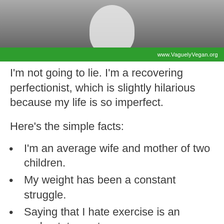[Figure (photo): Grayscale photo of a person, partially visible, with a green banner overlay at bottom showing website URL www.VaguelyVegan.org]
I'm not going to lie. I'm a recovering perfectionist, which is slightly hilarious because my life is so imperfect.
Here's the simple facts:
I'm an average wife and mother of two children.
My weight has been a constant struggle.
Saying that I hate exercise is an understatement.
(partial, cut off at bottom of page)